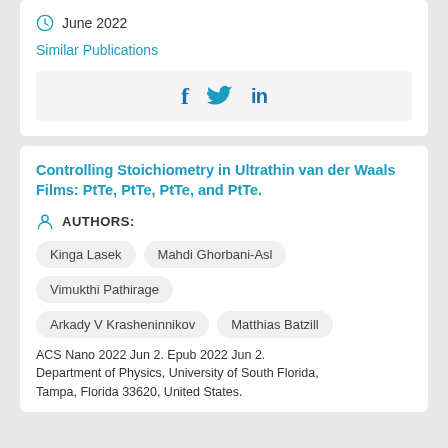June 2022
Similar Publications
[Figure (other): Social media share icons: Facebook (f), Twitter (bird), LinkedIn (in)]
Controlling Stoichiometry in Ultrathin van der Waals Films: PtTe, PtTe, PtTe, and PtTe.
AUTHORS:
Kinga Lasek
Mahdi Ghorbani-Asl
Vimukthi Pathirage
Arkady V Krasheninnikov
Matthias Batzill
ACS Nano 2022 Jun 2. Epub 2022 Jun 2. Department of Physics, University of South Florida, Tampa, Florida 33620, United States.